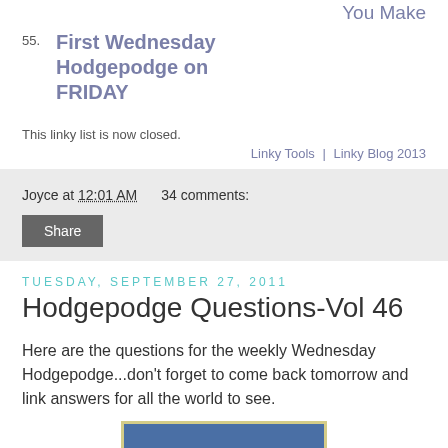You Make
55. First Wednesday Hodgepodge on FRIDAY
This linky list is now closed.
Linky Tools  |  Linky Blog 2013
Joyce at 12:01 AM   34 comments:
Share
Tuesday, September 27, 2011
Hodgepodge Questions-Vol 46
Here are the questions for the weekly Wednesday Hodgepodge...don't forget to come back tomorrow and link answers for all the world to see.
[Figure (photo): Partial image preview at bottom of page, showing a photo with a yellow border]